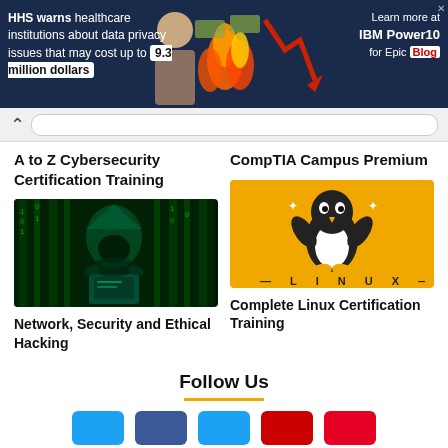[Figure (screenshot): HHS data privacy warning ad banner with man in glasses, flames, and downward arrow chart. Text: HHS warns healthcare institutions about data privacy issues that may cost up to 9.3 million dollars. Learn more at IBM Power10 for Epic Blog.]
A to Z Cybersecurity Certification Training
CompTIA Campus Premium
[Figure (photo): Cybersecurity themed image: hooded figure with glowing green digital matrix background at a laptop]
[Figure (illustration): Linux penguin mascot on orange/yellow background with LINUX text]
Network, Security and Ethical Hacking
Complete Linux Certification Training
Follow Us